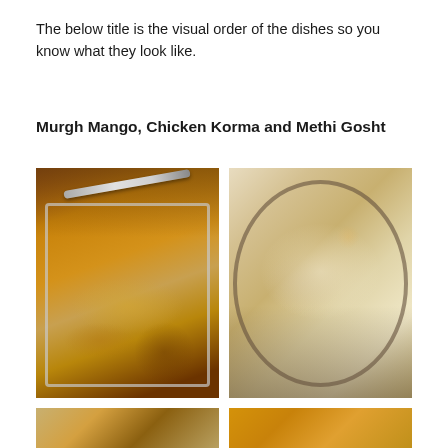The below title is the visual order of the dishes so you know what they look like.
Murgh Mango, Chicken Korma and Methi Gosht
[Figure (photo): Photo of curry dish in a metal tray with a spoon, showing a yellow-orange creamy curry]
[Figure (photo): Photo of a large mound of basmati rice on a round metal plate]
[Figure (photo): Partial photo of a dish at the bottom left]
[Figure (photo): Partial photo of a curry dish at the bottom right]